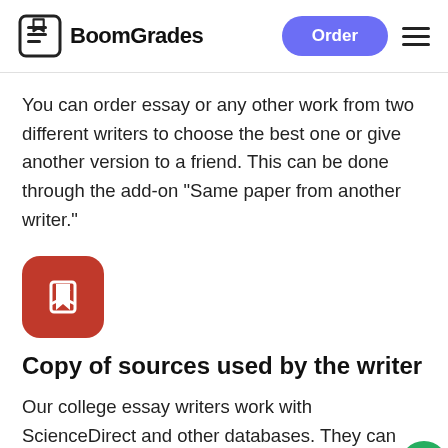BoomGrades
You can order essay or any other work from two different writers to choose the best one or give another version to a friend. This can be done through the add-on "Same paper from another writer."
[Figure (logo): Red rounded square icon with a white bookmark symbol]
Copy of sources used by the writer
Our college essay writers work with ScienceDirect and other databases. They can send you articles or materials used in PDF or